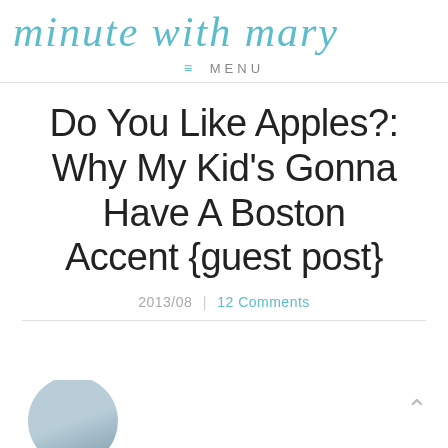minute with mary
≡ MENU
Do You Like Apples?: Why My Kid's Gonna Have A Boston Accent {guest post}
2013/08 | 12 Comments
[Figure (photo): Partial view of a person wearing a Red Sox cap, cropped at bottom of page]